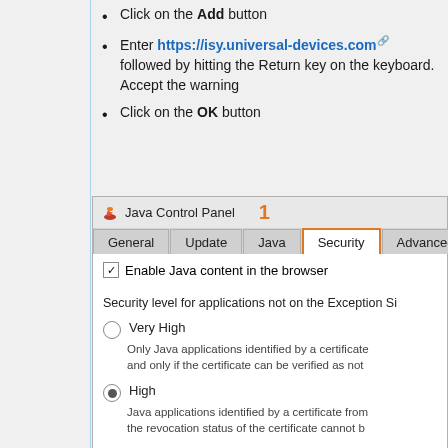Click on the Add button
Enter https://isy.universal-devices.com followed by hitting the Return key on the keyboard. Accept the warning
Click on the OK button
[Figure (screenshot): Java Control Panel screenshot showing the Security tab selected (highlighted in orange with callout number 1). The Security panel shows: a checked checkbox 'Enable Java content in the browser', a label 'Security level for applications not on the Exception Si...', radio button 'Very High' (unselected) with description 'Only Java applications identified by a certificate... and only if the certificate can be verified as not...', and radio button 'High' (selected) with description 'Java applications identified by a certificate from... the revocation status of the certificate cannot b...']